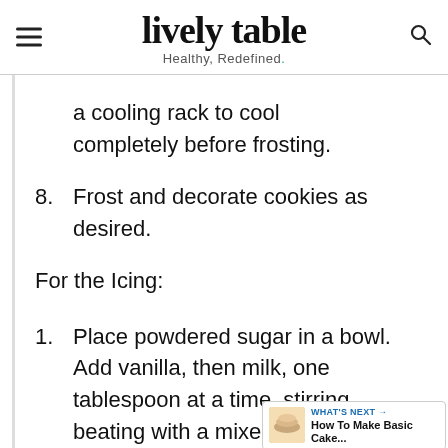lively table — Healthy, Redefined.
a cooling rack to cool completely before frosting.
8. Frost and decorate cookies as desired.
For the Icing:
1. Place powdered sugar in a bowl. Add vanilla, then milk, one tablespoon at a time, stirring beating with a mixer constantly